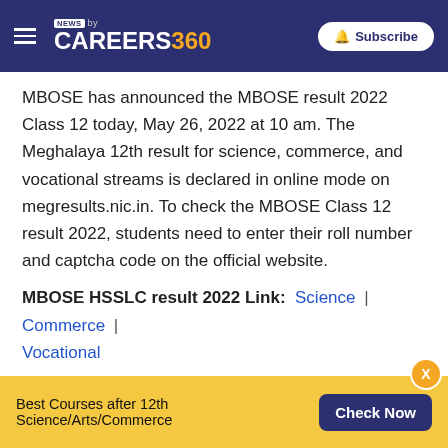NEWS by CAREERS360 | Subscribe
MBOSE has announced the MBOSE result 2022 Class 12 today, May 26, 2022 at 10 am. The Meghalaya 12th result for science, commerce, and vocational streams is declared in online mode on megresults.nic.in. To check the MBOSE Class 12 result 2022, students need to enter their roll number and captcha code on the official website.
MBOSE HSSLC result 2022 Link: Science | Commerce | Vocational
Recommended: Check top 100 careers after class 12th.
Best Courses after 12th Science/Arts/Commerce   Check Now